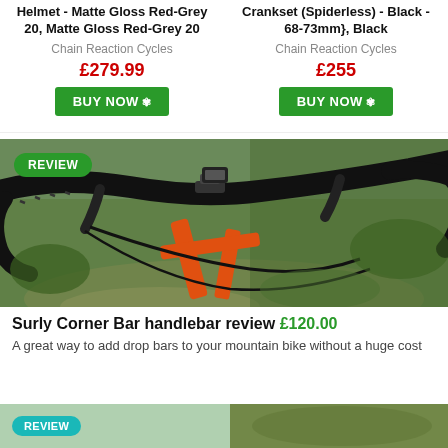Helmet - Matte Gloss Red-Grey 20, Matte Gloss Red-Grey 20
Chain Reaction Cycles
£279.99
BUY NOW
Crankset (Spiderless) - Black - 68-73mm}, Black
Chain Reaction Cycles
£255
BUY NOW
[Figure (photo): Close-up photo of a bicycle handlebar (Surly Corner Bar) with drop bars on an orange mountain bike frame, outdoors on a dirt trail surrounded by greenery. A green 'REVIEW' badge overlays the top-left corner.]
Surly Corner Bar handlebar review £120.00
A great way to add drop bars to your mountain bike without a huge cost
[Figure (photo): Bottom strip showing two partial images: left side with a teal badge partially visible, right side showing green outdoor/nature scene.]